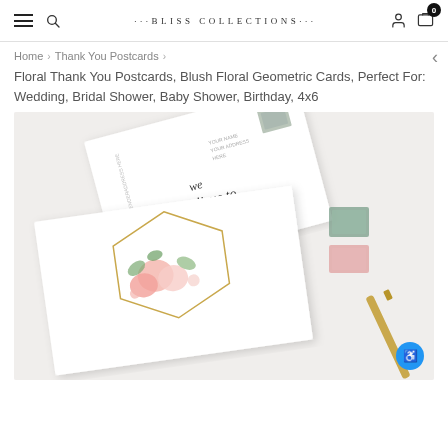BLISS COLLECTIONS
Home > Thank You Postcards >
Floral Thank You Postcards, Blush Floral Geometric Cards, Perfect For: Wedding, Bridal Shower, Baby Shower, Birthday, 4x6
[Figure (photo): Product photo showing floral thank you postcards with blush pink roses and gold geometric frame design, displayed on white background with vintage stamps and gold pen]